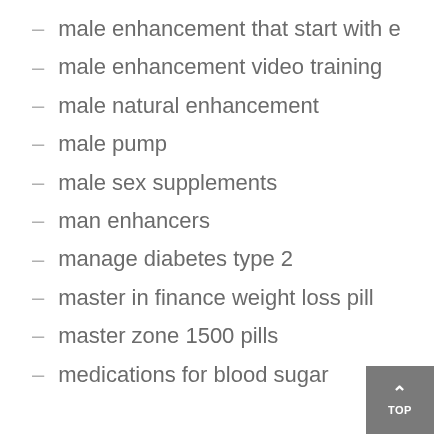male enhancement that start with e
male enhancement video training
male natural enhancement
male pump
male sex supplements
man enhancers
manage diabetes type 2
master in finance weight loss pill
master zone 1500 pills
medications for blood sugar